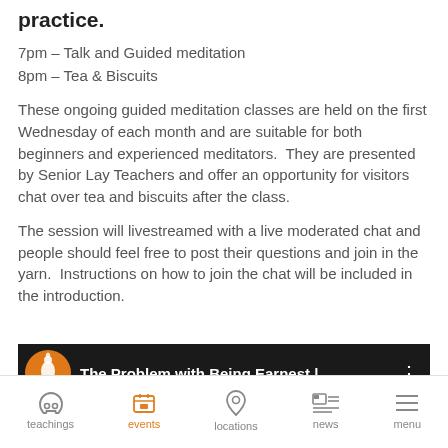practice.
7pm – Talk and Guided meditation
8pm – Tea & Biscuits
These ongoing guided meditation classes are held on the first Wednesday of each month and are suitable for both beginners and experienced meditators.  They are presented by Senior Lay Teachers and offer an opportunity for visitors chat over tea and biscuits after the class.
The session will livestreamed with a live moderated chat and people should feel free to post their questions and join in the yarn.  Instructions on how to join the chat will be included in the introduction.
[Figure (screenshot): Video thumbnail showing 'The Problem with Being Earnest | ...' with orange Buddha logo on dark background]
teachings   events   locations   news   menu